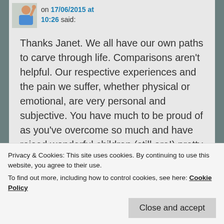on 17/06/2015 at 10:26 said:
Thanks Janet. We all have our own paths to carve through life. Comparisons aren't helpful. Our respective experiences and the pain we suffer, whether physical or emotional, are very personal and subjective. You have much to be proud of as you've overcome so much and have raised wonderful children (still are!) pretty much single-handedly and have dealt with your own demons with determination, tenacity and resilience. Big hugs to you,
Privacy & Cookies: This site uses cookies. By continuing to use this website, you agree to their use.
To find out more, including how to control cookies, see here: Cookie Policy
Close and accept